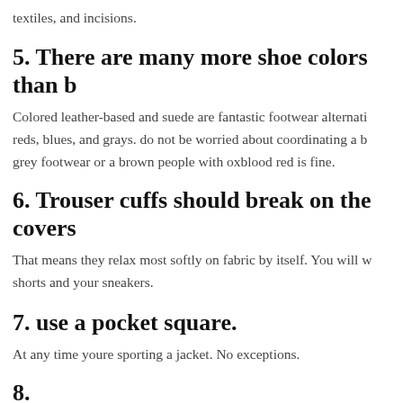textiles, and incisions.
5. There are many more shoe colors than b
Colored leather-based and suede are fantastic footwear alternati reds, blues, and grays. do not be worried about coordinating a b grey footwear or a brown people with oxblood red is fine.
6. Trouser cuffs should break on the covers
That means they relax most softly on fabric by itself. You will w shorts and your sneakers.
7. use a pocket square.
At any time youre sporting a jacket. No exceptions.
8.